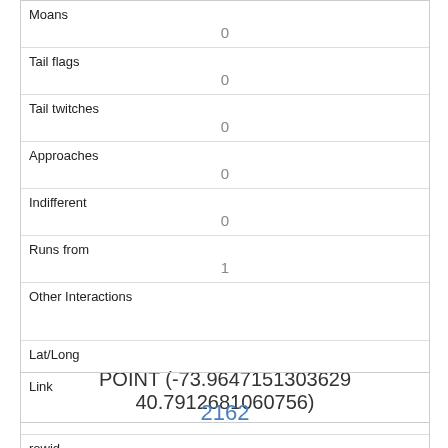| Moans | 0 |
| Tail flags | 0 |
| Tail twitches | 0 |
| Approaches | 0 |
| Indifferent | 0 |
| Runs from | 1 |
| Other Interactions |  |
| Lat/Long | POINT (-73.9647151303629 40.7912681060756) |
| Link | 2162 |
| rowid | 2162 |